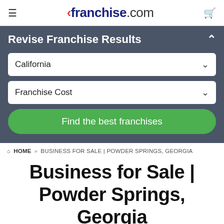franchise.com
Revise Franchise Results
California
Franchise Cost
Find the best franchises
HOME » BUSINESS FOR SALE | POWDER SPRINGS, GEORGIA
Business for Sale | Powder Springs, Georgia